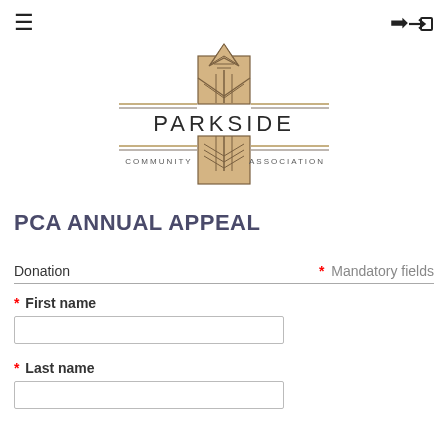[Figure (logo): Parkside Community Association logo with geometric art deco design]
PCA ANNUAL APPEAL
Donation   * Mandatory fields
* First name
* Last name